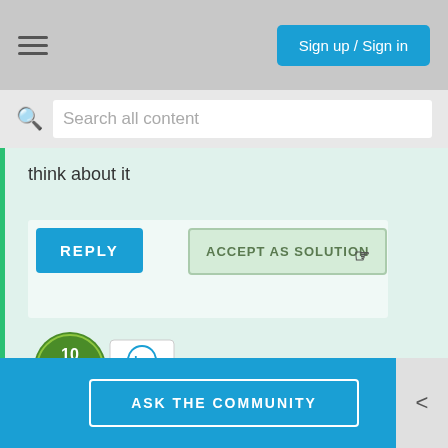Sign up / Sign in
Search all content
think about it
[Figure (screenshot): REPLY button (blue) and ACCEPT AS SOLUTION button (light green) with cursor icon]
[Figure (logo): 10 years HP Expert badge with chat icon]
Desktop-Knowledge-Base
-------------------------------------------------------------------------------------------------------
----------------------------------------------------------------------------------
ASK THE COMMUNITY